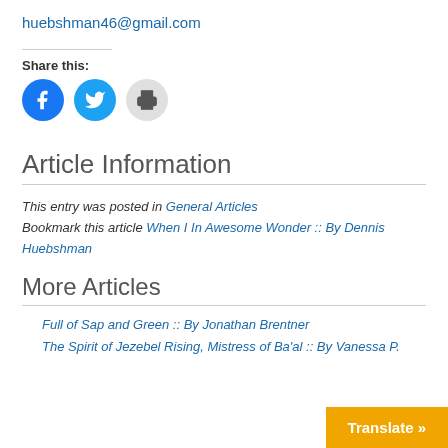huebshman46@gmail.com
Share this:
[Figure (other): Social share icons: Facebook (blue circle), Twitter (light blue circle), Print (grey circle)]
Article Information
This entry was posted in General Articles
Bookmark this article When I In Awesome Wonder :: By Dennis Huebshman
More Articles
Full of Sap and Green :: By Jonathan Brentner
The Spirit of Jezebel Rising, Mistress of Ba'al :: By Vanessa P.